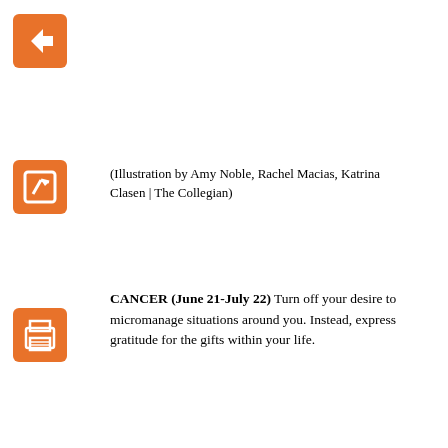[Figure (other): Orange back arrow navigation button]
[Figure (other): Orange edit/pencil button]
(Illustration by Amy Noble, Rachel Macias, Katrina Clasen | The Collegian)
[Figure (other): Orange print button]
CANCER (June 21-July 22) Turn off your desire to micromanage situations around you. Instead, express gratitude for the gifts within your life.
[Figure (other): Orange PDF button with placeholder image]
[Figure (other): Small broken image placeholder]